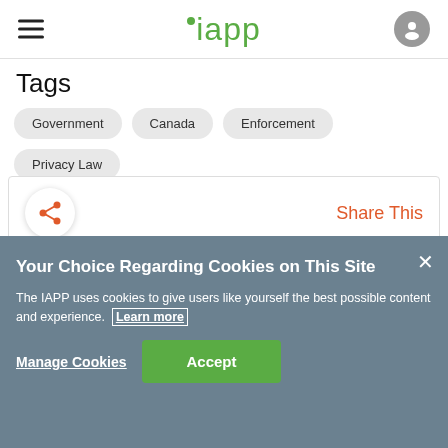iapp
Tags
Government
Canada
Enforcement
Privacy Law
Share This
Your Choice Regarding Cookies on This Site
The IAPP uses cookies to give users like yourself the best possible content and experience. Learn more
Manage Cookies
Accept